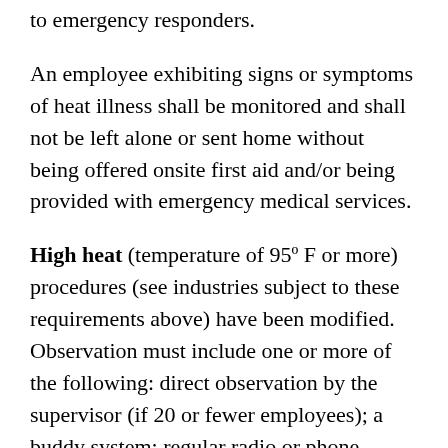to emergency responders.
An employee exhibiting signs or symptoms of heat illness shall be monitored and shall not be left alone or sent home without being offered onsite first aid and/or being provided with emergency medical services.
High heat (temperature of 95º F or more) procedures (see industries subject to these requirements above) have been modified. Observation must include one or more of the following: direct observation by the supervisor (if 20 or fewer employees); a buddy system; regular radio or phone communication with a sole employee; or other effective means of